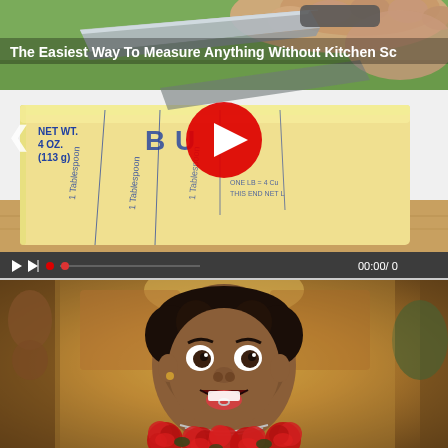[Figure (screenshot): Video thumbnail showing hands cutting a stick of butter (NET WT. 4 OZ. 113g) with a knife. Red play button overlay in center. Video title 'The Easiest Way To Measure Anything Without Kitchen Sc' shown in white text. Video player controls bar at bottom showing 00:00/0.]
[Figure (photo): Photo of a person with an exaggerated surprised/excited expression, wearing red rose decorations and a tongue ring, with a chandelier-lit ornate interior in the background.]